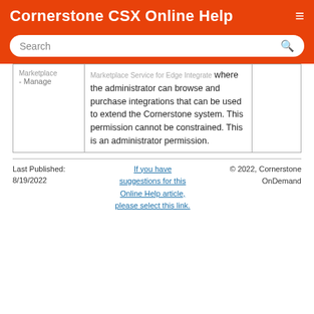Cornerstone CSX Online Help
|  |  |  |
| --- | --- | --- |
| Marketplace - Manage | Marketplace Service for Edge Integrate where the administrator can browse and purchase integrations that can be used to extend the Cornerstone system. This permission cannot be constrained. This is an administrator permission. |  |
Last Published: 8/19/2022 | If you have suggestions for this Online Help article, please select this link. | © 2022, Cornerstone OnDemand